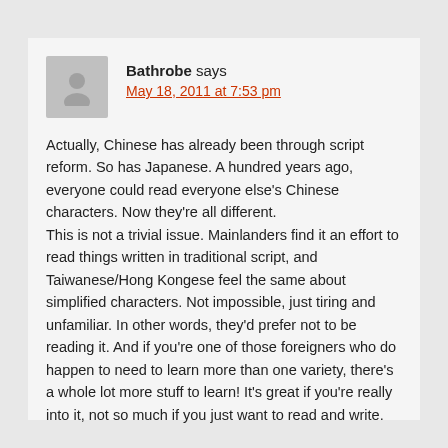Bathrobe says
May 18, 2011 at 7:53 pm
Actually, Chinese has already been through script reform. So has Japanese. A hundred years ago, everyone could read everyone else's Chinese characters. Now they're all different.
This is not a trivial issue. Mainlanders find it an effort to read things written in traditional script, and Taiwanese/Hong Kongese feel the same about simplified characters. Not impossible, just tiring and unfamiliar. In other words, they'd prefer not to be reading it. And if you're one of those foreigners who do happen to need to learn more than one variety, there's a whole lot more stuff to learn! It's great if you're really into it, not so much if you just want to read and write.